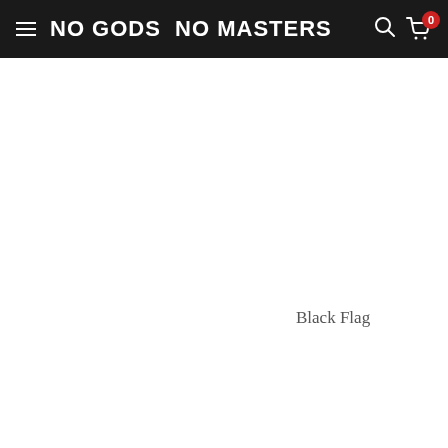NO GODS  NO MASTERS
Black Flag